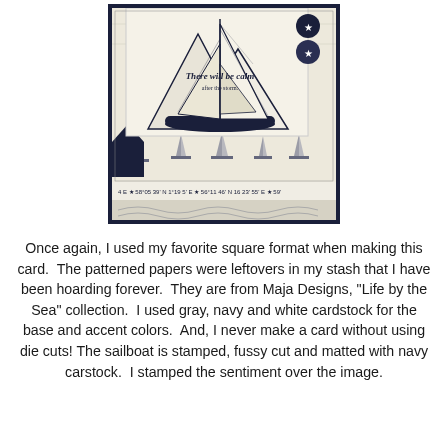[Figure (photo): A handmade nautical-themed square card featuring a stamped sailboat image with 'There will be calm after the storm.' sentiment, layered on patterned papers with sailboats and nautical coordinates, using navy, gray, and white cardstock.]
Once again, I used my favorite square format when making this card.  The patterned papers were leftovers in my stash that I have been hoarding forever.  They are from Maja Designs, "Life by the Sea" collection.  I used gray, navy and white cardstock for the base and accent colors.  And, I never make a card without using die cuts! The sailboat is stamped, fussy cut and matted with navy carstock.  I stamped the sentiment over the image.